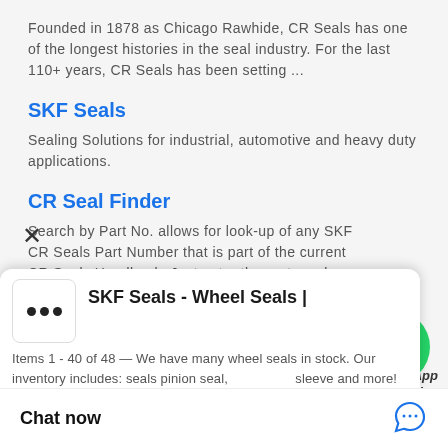Founded in 1878 as Chicago Rawhide, CR Seals has one of the longest histories in the seal industry. For the last 110+ years, CR Seals has been setting ...
SKF Seals
Sealing Solutions for industrial, automotive and heavy duty applications.
CR Seal Finder
[Figure (other): WhatsApp green phone bubble icon with 'WhatsApp Online' text label]
Search by Part No. allows for look-up of any SKF CR Seals Part Number that is part of the current CR Seals Handbook. Just enter the part number and click ...
SKF Seals - Wheel Seals |
Items 1 - 40 of 48 — We have many wheel seals in stock. Our inventory includes: seals pinion seal, sleeve and more!
Chat now